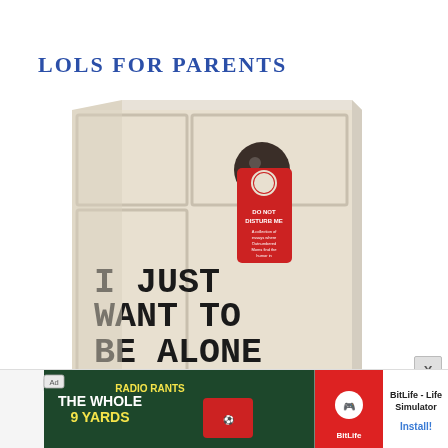LOLS FOR PARENTS
[Figure (photo): Book cover of 'I Just Want To Be Alone' showing a door with a Do Not Disturb hanger, book spine visible on right side. The cover has a beige/cream background with large bold text reading 'I JUST WANT TO BE ALONE' and a red Do Not Disturb door hanger with a dark round doorknob above it.]
[Figure (other): Advertisement banner at the bottom showing 'BitLife - Life Simulator' app ad with green background icons on left and app name and Install button on right.]